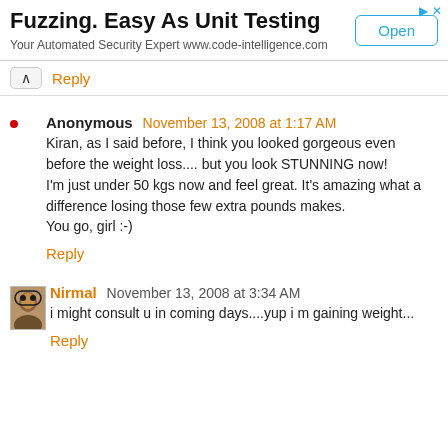[Figure (screenshot): Advertisement banner: 'Fuzzing. Easy As Unit Testing' with 'Your Automated Security Expert www.code-intelligence.com' and an 'Open' button]
^ Reply
Anonymous November 13, 2008 at 1:17 AM
Kiran, as I said before, I think you looked gorgeous even before the weight loss.... but you look STUNNING now!
I'm just under 50 kgs now and feel great. It's amazing what a difference losing those few extra pounds makes.
You go, girl :-)
Reply
Nirmal November 13, 2008 at 3:34 AM
i might consult u in coming days....yup i m gaining weight...
Reply